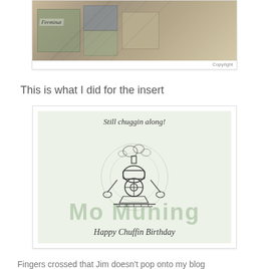[Figure (photo): Partial view of a collage or mixed-media artwork with earthy tones, fabric patches, and text labeled 'Ferminat'. Copyright watermark visible.]
This is what I did for the insert
[Figure (illustration): A card insert illustration on a light green background. Text at top reads 'Still chuggin along!' in italic. Center shows a cartoon train engine coming head-on with a figure riding it. Large watermark text 'Mo Muning' overlaid. Bottom reads 'Happy Chuffin Birthday' in italic serif font.]
Fingers crossed that Jim doesn't pop onto my blog